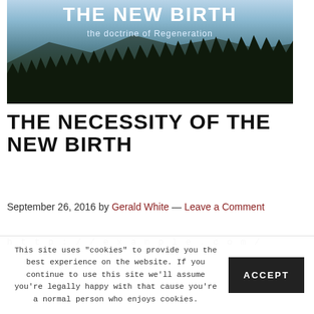[Figure (photo): Banner image for 'The New Birth - the doctrine of Regeneration' showing a dark forest silhouette against a misty mountain sky, with white bold text overlay reading 'THE NEW BIRTH' and subtitle 'the doctrine of Regeneration']
THE NECESSITY OF THE NEW BIRTH
September 26, 2016 by Gerald White — Leave a Comment
http://...
This site uses "cookies" to provide you the best experience on the website. If you continue to use this site we'll assume you're legally happy with that cause you're a normal person who enjoys cookies.